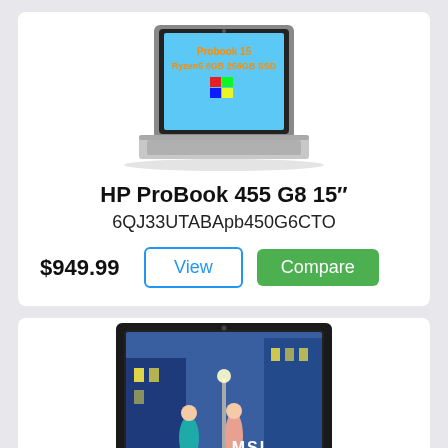[Figure (photo): HP ProBook 455 G8 15 inch laptop product image with Windows logo on screen showing 'Probook 15 Ryzen5 8GB 256GB SSD']
HP ProBook 455 G8 15”
6QJ33UTABApb450G6CTO
$949.99
[Figure (photo): MSI laptop product image with illustrated city scene on display, MSI logo visible on screen]